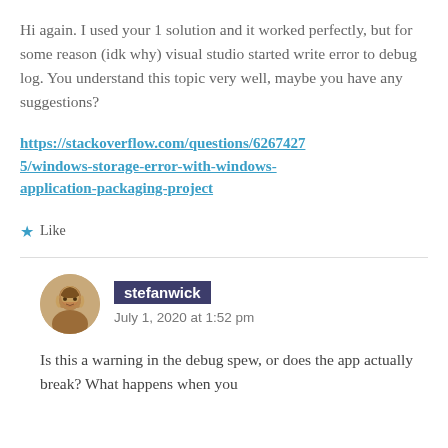Hi again. I used your 1 solution and it worked perfectly, but for some reason (idk why) visual studio started write error to debug log. You understand this topic very well, maybe you have any suggestions?
https://stackoverflow.com/questions/62674275/windows-storage-error-with-windows-application-packaging-project
Like
stefanwick
July 1, 2020 at 1:52 pm
Is this a warning in the debug spew, or does the app actually break? What happens when you